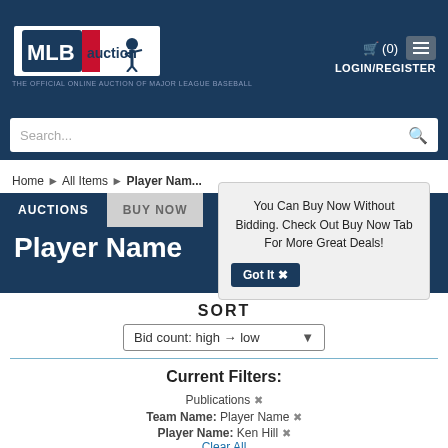MLB auction - THE OFFICIAL ONLINE AUCTION OF MAJOR LEAGUE BASEBALL
Search...
Home > All Items > Player Nam...
AUCTIONS | BUY NOW
Player Name
You Can Buy Now Without Bidding. Check Out Buy Now Tab For More Great Deals! Got It ✕
SORT
Bid count: high → low
Current Filters:
Publications ✕
Team Name: Player Name ✕
Player Name: Ken Hill ✕
Clear All